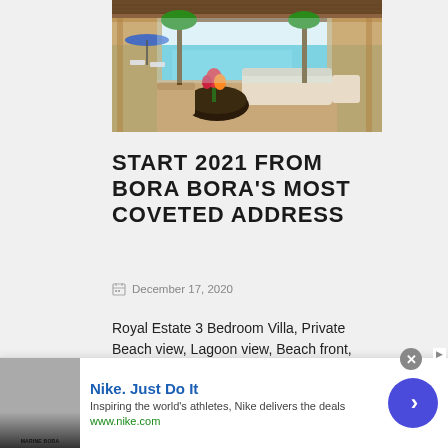[Figure (photo): Interior of a luxury overwater bungalow in Bora Bora with thatched roof, tropical furnishings, open walls showing turquoise lagoon, beach chairs, and colourful flowers on a dark round coffee table.]
START 2021 FROM BORA BORA'S MOST COVETED ADDRESS
December 17, 2020
Royal Estate 3 Bedroom Villa, Private Beach view, Lagoon view, Beach front, Large Lagoon access
[Figure (screenshot): Nike advertisement banner: Nike. Just Do It — Inspiring the world's athletes, Nike delivers the deals — www.nike.com — with thumbnail image and blue circular next button.]